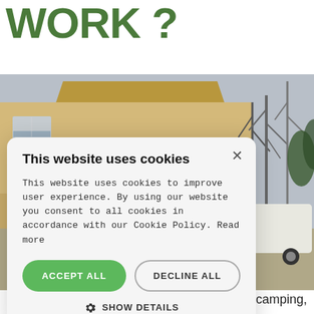WORK ?
[Figure (photo): Outdoor scene showing a yellow building with balcony and a white van in a parking area with bare trees]
This website uses cookies
This website uses cookies to improve user experience. By using our website you consent to all cookies in accordance with our Cookie Policy. Read more
ACCEPT ALL    DECLINE ALL
⚙ SHOW DETAILS
camping,